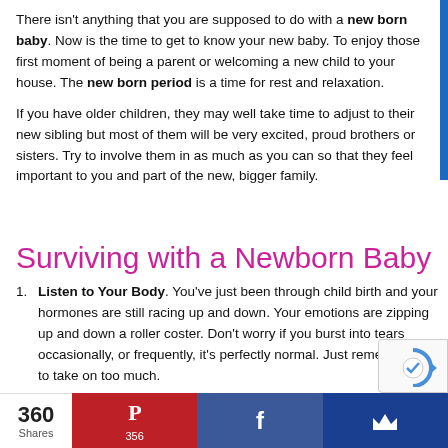There isn't anything that you are supposed to do with a new born baby. Now is the time to get to know your new baby. To enjoy those first moment of being a parent or welcoming a new child to your house. The new born period is a time for rest and relaxation.
If you have older children, they may well take time to adjust to their new sibling but most of them will be very excited, proud brothers or sisters. Try to involve them in as much as you can so that they feel important to you and part of the new, bigger family.
Surviving with a Newborn Baby
Listen to Your Body. You've just been through child birth and your hormones are still racing up and down. Your emotions are zipping up and down a roller coster. Don't worry if you burst into tears occasionally, or frequently, it's perfectly normal. Just remember not to take on too much.
Don't Worry About the Cleaning. You will eventually routine that works for you but at this newborn stage…
360 Shares | 356